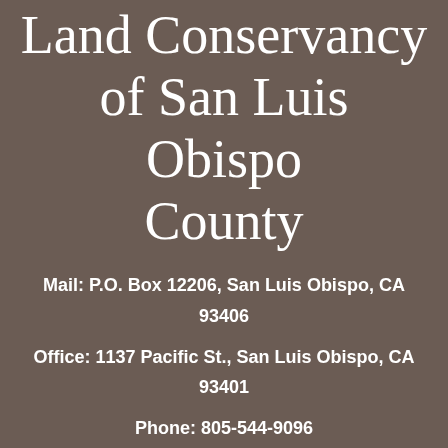Land Conservancy of San Luis Obispo County
Mail: P.O. Box 12206, San Luis Obispo, CA 93406
Office: 1137 Pacific St., San Luis Obispo, CA 93401
Phone: 805-544-9096
Email: info@lcslo.org